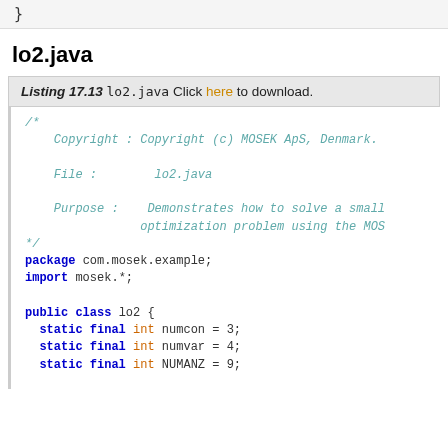}
lo2.java
Listing 17.13  lo2.java Click here to download.
/* Copyright : Copyright (c) MOSEK ApS, Denmark. File : lo2.java Purpose : Demonstrates how to solve a small optimization problem using the MOS */ package com.mosek.example; import mosek.*; public class lo2 { static final int numcon = 3; static final int numvar = 4; static final int NUMANZ = 9; public static void main (String[] args) { // Since the value infinity is never used, we // 'infinity' symbolic purposes only double infinity 0;